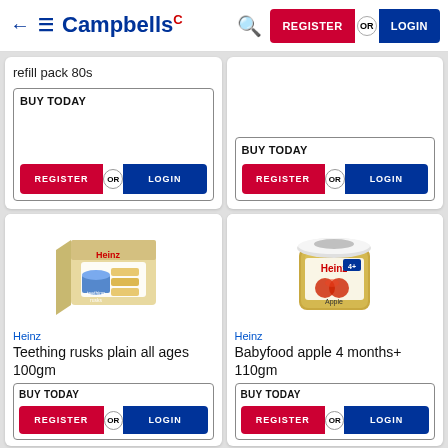[Figure (screenshot): Campbells wholesale grocery website header with logo, navigation arrows, hamburger menu, search icon, and Register/Login button]
refill pack 80s
BUY TODAY
REGISTER OR LOGIN
BUY TODAY
REGISTER OR LOGIN
[Figure (photo): Heinz Teething rusks plain all ages 100gm product package - box with rusks visible]
Heinz
Teething rusks plain all ages 100gm
BUY TODAY
REGISTER OR LOGIN
[Figure (photo): Heinz Babyfood apple 4 months+ 110gm - glass jar with apple puree]
Heinz
Babyfood apple 4 months+ 110gm
BUY TODAY
REGISTER OR LOGIN